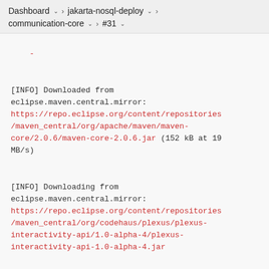Dashboard > jakarta-nosql-deploy > communication-core > #31
[INFO] Downloaded from eclipse.maven.central.mirror: https://repo.eclipse.org/content/repositories/maven_central/org/apache/maven/maven-core/2.0.6/maven-core-2.0.6.jar (152 kB at 19 MB/s)
[INFO] Downloading from eclipse.maven.central.mirror: https://repo.eclipse.org/content/repositories/maven_central/org/codehaus/plexus/plexus-interactivity-api/1.0-alpha-4/plexus-interactivity-api-1.0-alpha-4.jar
[INFO] Downloaded from eclipse.maven.central.mirror: https://repo.eclipse.org/content/repositories/maven_central/org/codehaus/plexus/plexus-interactivity-api/1.0-alpha-4/plexus-